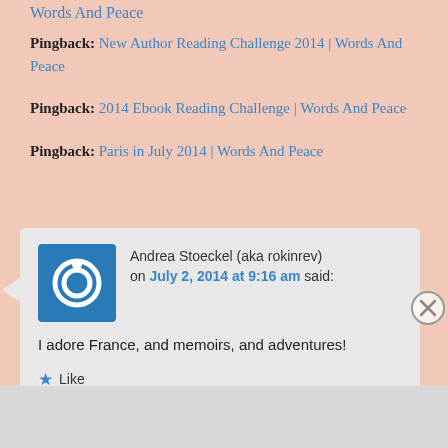Words And Peace
Pingback: New Author Reading Challenge 2014 | Words And Peace
Pingback: 2014 Ebook Reading Challenge | Words And Peace
Pingback: Paris in July 2014 | Words And Peace
Andrea Stoeckel (aka rokinrev) on July 2, 2014 at 9:16 am said:
I adore France, and memoirs, and adventures!
Like
Advertisements